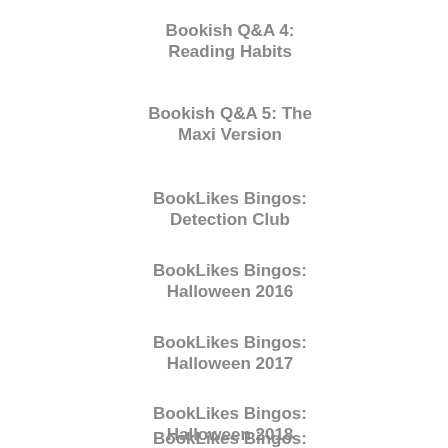Bookish Q&A 4: Reading Habits
Bookish Q&A 5: The Maxi Version
BookLikes Bingos: Detection Club
BookLikes Bingos: Halloween 2016
BookLikes Bingos: Halloween 2017
BookLikes Bingos: Halloween 2018
BookLikes Bingos: